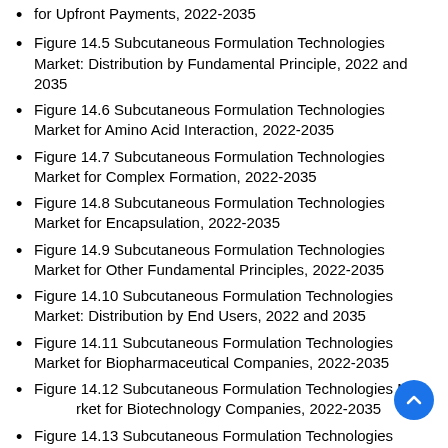for Upfront Payments, 2022-2035
Figure 14.5 Subcutaneous Formulation Technologies Market: Distribution by Fundamental Principle, 2022 and 2035
Figure 14.6 Subcutaneous Formulation Technologies Market for Amino Acid Interaction, 2022-2035
Figure 14.7 Subcutaneous Formulation Technologies Market for Complex Formation, 2022-2035
Figure 14.8 Subcutaneous Formulation Technologies Market for Encapsulation, 2022-2035
Figure 14.9 Subcutaneous Formulation Technologies Market for Other Fundamental Principles, 2022-2035
Figure 14.10 Subcutaneous Formulation Technologies Market: Distribution by End Users, 2022 and 2035
Figure 14.11 Subcutaneous Formulation Technologies Market for Biopharmaceutical Companies, 2022-2035
Figure 14.12 Subcutaneous Formulation Technologies Market for Biotechnology Companies, 2022-2035
Figure 14.13 Subcutaneous Formulation Technologies Market for Contract Development and Manufacturing Organizations, 2022-2035